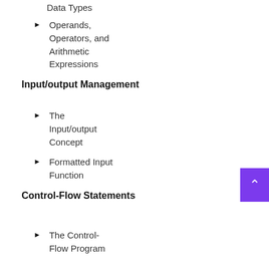Data Types
Operands, Operators, and Arithmetic Expressions
Input/output Management
The Input/output Concept
Formatted Input Function
Control-Flow Statements
The Control-Flow Program